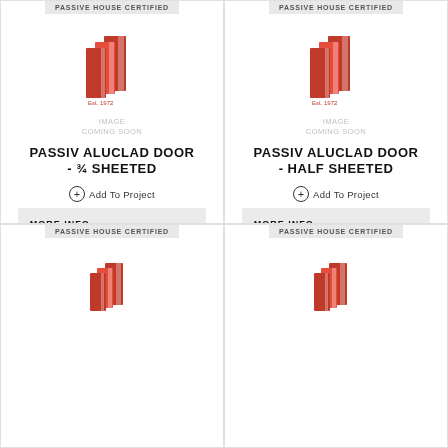[Figure (logo): Company logo with red door icon and 'Est. 1972' text, with 'IMAGE COMING SOON' placeholder text below. Product: PASSIV ALUCLAD DOOR - 3/4 SHEETED]
PASSIV ALUCLAD DOOR - 3/4 SHEETED
Add To Project
MORE INFO
[Figure (logo): Company logo with red door icon and 'Est. 1972' text, with 'IMAGE COMING SOON' placeholder text below. Product: PASSIV ALUCLAD DOOR - HALF SHEETED]
PASSIV ALUCLAD DOOR - HALF SHEETED
Add To Project
MORE INFO
PASSIVE HOUSE CERTIFIED
[Figure (logo): Company logo with red door icon, bottom left card]
PASSIVE HOUSE CERTIFIED
[Figure (logo): Company logo with red door icon, bottom right card]